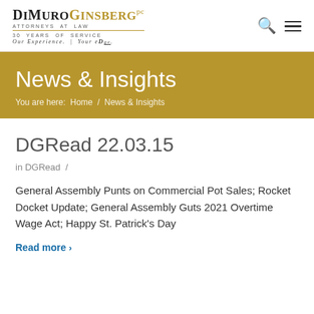DiMuro Ginsberg PC — Attorneys at Law — 30 Years of Service — Our Experience. | Your Edge.
News & Insights
You are here: Home / News & Insights
DGRead 22.03.15
in DGRead /
General Assembly Punts on Commercial Pot Sales; Rocket Docket Update; General Assembly Guts 2021 Overtime Wage Act; Happy St. Patrick's Day
Read more >